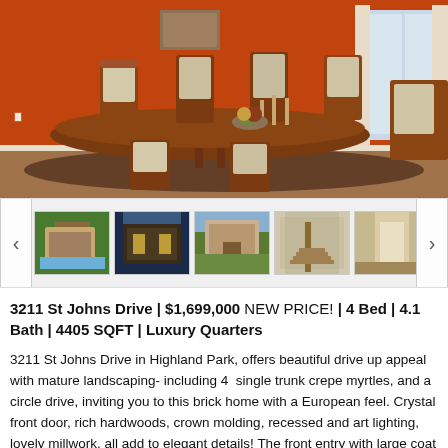[Figure (photo): Interior dining room photo with orange/red walls, wooden dining table with upholstered chairs, Persian rug on hardwood floors, large windows with curtains]
[Figure (photo): Thumbnail strip showing 7 property photos: exterior with pool, exterior night view, exterior front, interior staircase, interior hallway, interior living room, interior dining room]
3211 St Johns Drive | $1,699,000 NEW PRICE! | 4 Bed | 4.1 Bath | 4405 SQFT | Luxury Quarters
3211 St Johns Drive in Highland Park, offers beautiful drive up appeal with mature landscaping- including 4 single trunk crepe myrtles, and a circle drive, inviting you to this brick home with a European feel. Crystal front door, rich hardwoods, crown molding, recessed and art lighting, lovely millwork, all add to elegant details! The front entry with large coat closet and under stairs storage, features herringbone hardwoods with accent inlaid trim, and opens to center staircase and gracious formals. Adjacent sitting